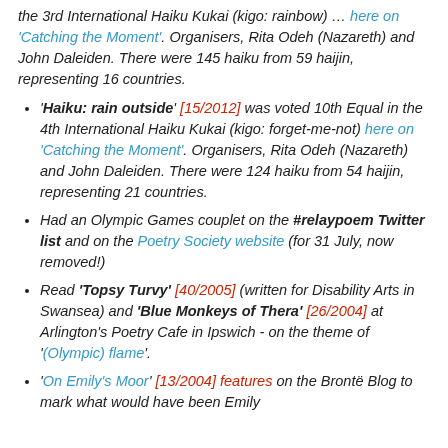the 3rd International Haiku Kukai (kigo: rainbow) ... here on 'Catching the Moment'. Organisers, Rita Odeh (Nazareth) and John Daleiden. There were 145 haiku from 59 haijin, representing 16 countries.
'Haiku: rain outside' [15/2012] was voted 10th Equal in the 4th International Haiku Kukai (kigo: forget-me-not) here on 'Catching the Moment'. Organisers, Rita Odeh (Nazareth) and John Daleiden. There were 124 haiku from 54 haijin, representing 21 countries.
Had an Olympic Games couplet on the #relaypoem Twitter list and on the Poetry Society website (for 31 July, now removed!)
Read 'Topsy Turvy' [40/2005] (written for Disability Arts in Swansea) and 'Blue Monkeys of Thera' [26/2004] at Arlington's Poetry Cafe in Ipswich - on the theme of '(Olympic) flame'.
'On Emily's Moor' [13/2004] features on the Brontë Blog to mark what would have been Emily...